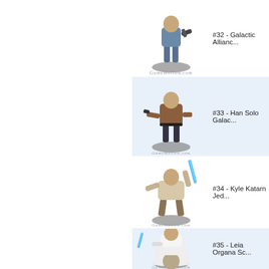[Figure (illustration): Miniature figure #32 - Galactic Alliance soldier holding a gun, standing on a base, with GameHollow.com watermark]
#32 - Galactic Allianc...
[Figure (illustration): Miniature figure #33 - Han Solo Galactic... holding a blaster, standing on a base, with GameHollow.com watermark]
#33 - Han Solo Galac...
[Figure (illustration): Miniature figure #34 - Kyle Katarn Jedi wielding a blue lightsaber, with GameHollow.com watermark]
#34 - Kyle Katarn Jed...
[Figure (illustration): Miniature figure #35 - Leia Organa wielding a blue lightsaber, white robes, with GameHollow.com watermark]
#35 - Leia Organa Sc...
[Figure (illustration): Partial miniature figure at bottom, partially cut off]